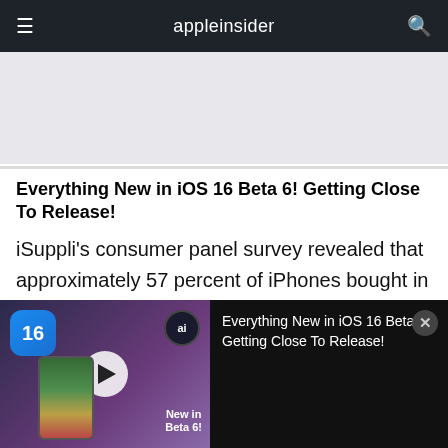appleinsider
[Figure (other): Gray placeholder advertisement banner]
Everything New in iOS 16 Beta 6! Getting Close To Release!
iSuppli's consumer panel survey revealed that approximately 57 percent of iPhones bought in July were purchased by U.S. consumers 35 years of age or younger. The majority of those iPhone buyers were men, with 52 percent of purchasers
[Figure (screenshot): Video overlay bar at bottom showing iOS 16 Beta 6 thumbnail with play button, iOS 16 icon, ai badge, phone with colorful screen, 'New in Beta 6!' text label, and video title 'Everything New in iOS 16 Beta 6! Getting Close To Release!' on dark background with close button]